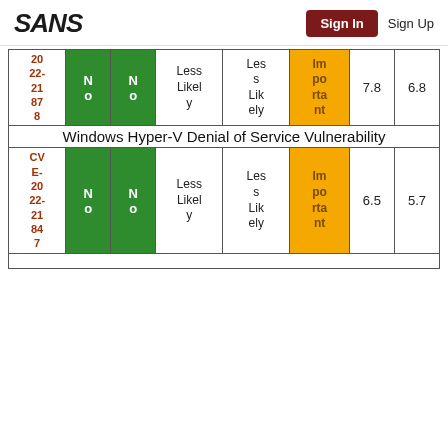SANS | Sign In | Sign Up
| CVE | No | No | Exploitability | Likelihood | Severity | Score1 | Score2 |
| --- | --- | --- | --- | --- | --- | --- | --- |
| 2022-21878 | No | No | Less Likely | Less Likely | Important | 7.8 | 6.8 |
| Windows Hyper-V Denial of Service Vulnerability |  |  |  |  |  |  |  |
| CVE-2022-21847 | No | No | Less Likely | Less Likely | Important | 6.5 | 5.7 |